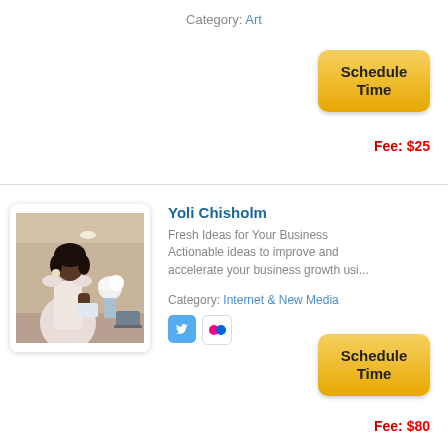Category: Art
[Figure (other): Schedule Time button (yellow/gold pill button)]
Fee: $25
[Figure (photo): Portrait photo of Yoli Chisholm in a white dress holding a name card, standing indoors]
Yoli Chisholm
Fresh Ideas for Your Business Actionable ideas to improve and accelerate your business growth usi...
Category: Internet & New Media
[Figure (other): Social media icons: Twitter (blue bird icon) and Flickr (red/pink dots icon)]
[Figure (other): Schedule Time button (yellow/gold pill button)]
Fee: $80